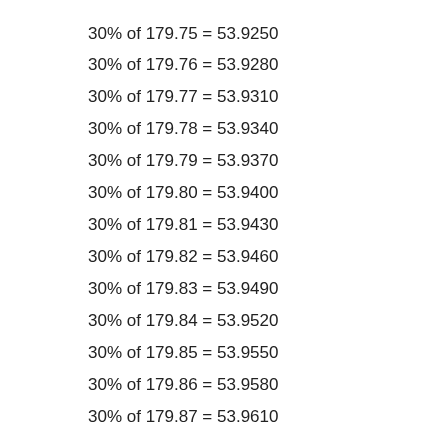30% of 179.75 = 53.9250
30% of 179.76 = 53.9280
30% of 179.77 = 53.9310
30% of 179.78 = 53.9340
30% of 179.79 = 53.9370
30% of 179.80 = 53.9400
30% of 179.81 = 53.9430
30% of 179.82 = 53.9460
30% of 179.83 = 53.9490
30% of 179.84 = 53.9520
30% of 179.85 = 53.9550
30% of 179.86 = 53.9580
30% of 179.87 = 53.9610